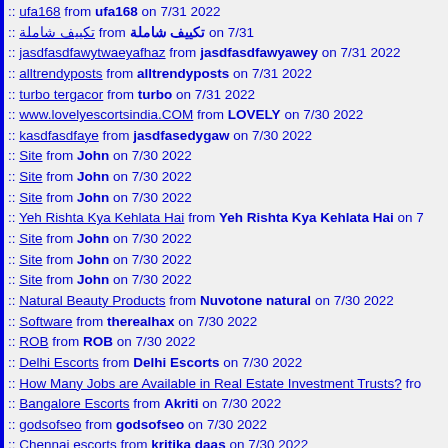:: ufa168 from ufa168 on 7/31 2022
:: تبويب شاملة from [Arabic text] on 7/31 2022
:: jasdfasdfawytwaeyafhaz from jasdfasdfawyawey on 7/31 2022
:: alltrendyposts from alltrendyposts on 7/31 2022
:: turbo tergacor from turbo on 7/31 2022
:: www.lovelyescortsindia.COM from LOVELY on 7/30 2022
:: kasdfasdfaye from jasdfasedygaw on 7/30 2022
:: Site from John on 7/30 2022
:: Site from John on 7/30 2022
:: Site from John on 7/30 2022
:: Yeh Rishta Kya Kehlata Hai from Yeh Rishta Kya Kehlata Hai on 7/...
:: Site from John on 7/30 2022
:: Site from John on 7/30 2022
:: Site from John on 7/30 2022
:: Natural Beauty Products from Nuvotone natural on 7/30 2022
:: Software from therealhax on 7/30 2022
:: ROB from ROB on 7/30 2022
:: Delhi Escorts from Delhi Escorts on 7/30 2022
:: How Many Jobs are Available in Real Estate Investment Trusts? from ...
:: Bangalore Escorts from Akriti on 7/30 2022
:: godsofseo from godsofseo on 7/30 2022
:: Chennai escorts from kritika daas on 7/30 2022
:: Escorts Services In Ghaziabad from Bhawna Sharma on 7/30 2022
:: Ghaziabad Call Girls from Hina Thakkar on 7/30 2022
:: Ghaziabad Escorts from Deepika Sharma on 7/30 2022
:: fiftyshadesofseo from fiftyshadesofseo on 7/30 2022
:: Old School Haze from Old School Haze on 7/30 2022
:: imperioninfomedia from imperioninfomedia on 7/30 2022
:: jaipur from jaipur on 7/30 2022
:: KOLKATA NIGHT ESCORTS from KOLKATA NIGHT ESCORTS on ...